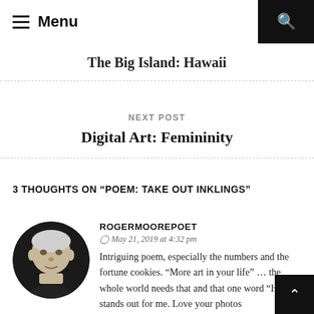Menu
The Big Island: Hawaii
NEXT POST
Digital Art: Femininity
3 THOUGHTS ON "POEM: TAKE OUT INKLINGS"
ROGERMOOREPOET
May 21, 2019 at 4:32 pm
Intriguing poem, especially the numbers and the fortune cookies. “More art in your life” … the whole world needs that and that one word “Heal” stands out for me. Love your photos